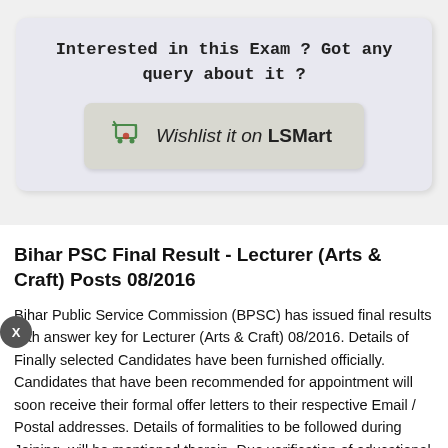Interested in this Exam ? Got any query about it ?
[Figure (other): Wishlist it on LSMart button with shopping cart icon]
Bihar PSC Final Result - Lecturer (Arts & Craft) Posts 08/2016
Bihar Public Service Commission (BPSC) has issued final results with answer key for Lecturer (Arts & Craft) 08/2016. Details of Finally selected Candidates have been furnished officially. Candidates that have been recommended for appointment will soon receive their formal offer letters to their respective Email / Postal addresses. Details of formalities to be followed during Joining, will be mentioned therein. Due verification of educational and personal documents will be done at the time of joining.